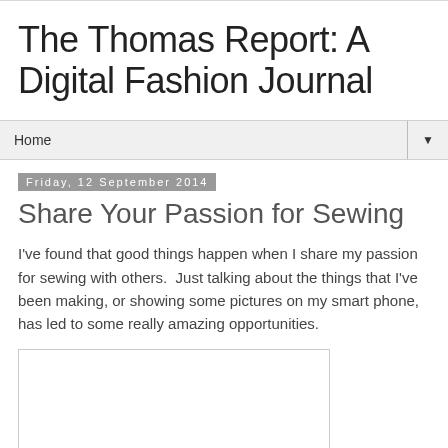The Thomas Report: A Digital Fashion Journal
Home
Friday, 12 September 2014
Share Your Passion for Sewing
I've found that good things happen when I share my passion for sewing with others.  Just talking about the things that I've been making, or showing some pictures on my smart phone, has led to some really amazing opportunities.
[Figure (photo): Image placeholder, partially visible at bottom of page]